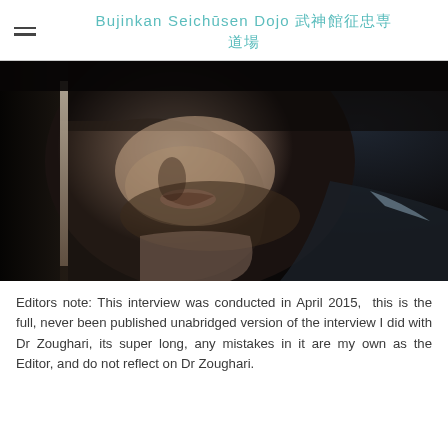Bujinkan Seichūsen Dojo 武神館 征忠専道場
[Figure (photo): Close-up black and white portrait photograph of a man's face in profile, partially lit with dramatic shadows, showing his lower face, stubble beard, and neck against a dark background.]
Editors note: This interview was conducted in April 2015, this is the full, never been published unabridged version of the interview I did with Dr Zoughari, its super long, any mistakes in it are my own as the Editor, and do not reflect on Dr Zoughari.